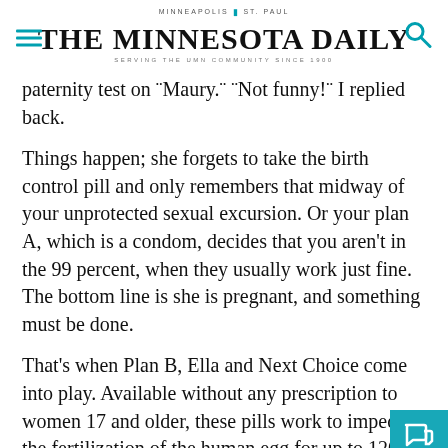MINNEAPOLIS  ST. PAUL
THE MINNESOTA DAILY
SERVING THE UMN COMMUNITY SINCE 1900
paternity test on ¨Maury.¨ ¨Not funny!¨ I replied back.
Things happen; she forgets to take the birth control pill and only remembers that midway of your unprotected sexual excursion. Or your plan A, which is a condom, decides that you aren't in the 99 percent, when they usually work just fine. The bottom line is she is pregnant, and something must be done.
That's when Plan B, Ella and Next Choice come into play. Available without any prescription to women 17 and older, these pills work to impede the fertilization of the human egg for up to 120 hours of conception. Of course, they are most effective in